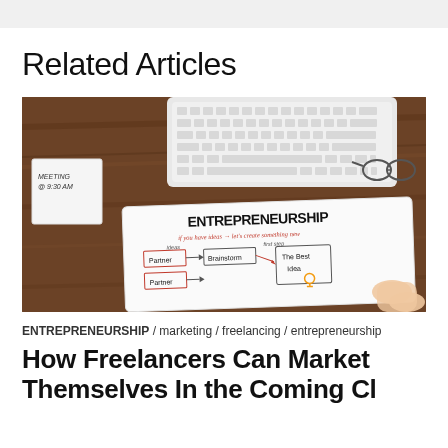Related Articles
[Figure (photo): Overhead photo of a wooden desk with a white Apple keyboard, glasses, a sticky note reading 'MEETING @ 9:30 AM', a pen, and a tablet/paper showing 'ENTREPRENEURSHIP' mindmap diagram with 'if you have ideas → let's create something new', flowchart with Partner, Brainstorm, The Best Idea boxes]
ENTREPRENEURSHIP / marketing / freelancing / entrepreneurship
How Freelancers Can Market Themselves In the Coming Cl...